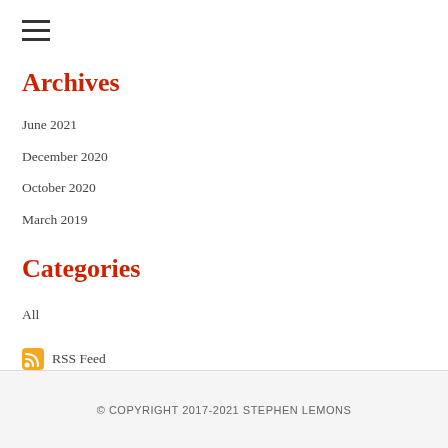Archives
June 2021
December 2020
October 2020
March 2019
Categories
All
RSS Feed
© COPYRIGHT 2017-2021 STEPHEN LEMONS